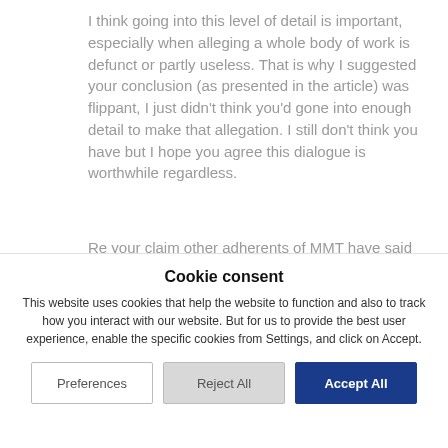I think going into this level of detail is important, especially when alleging a whole body of work is defunct or partly useless. That is why I suggested your conclusion (as presented in the article) was flippant, I just didn't think you'd gone into enough detail to make that allegation. I still don't think you have but I hope you agree this dialogue is worthwhile regardless.
Re your claim other adherents of MMT have said about not giving a
Cookie consent
This website uses cookies that help the website to function and also to track how you interact with our website. But for us to provide the best user experience, enable the specific cookies from Settings, and click on Accept.